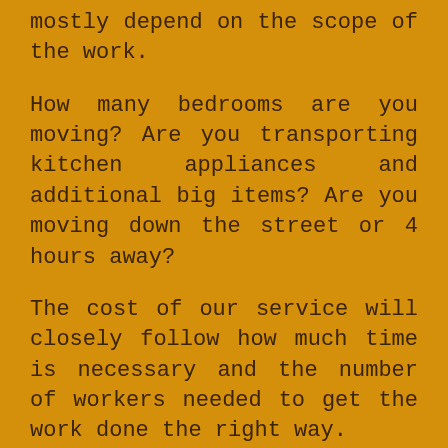mostly depend on the scope of the work.
How many bedrooms are you moving? Are you transporting kitchen appliances and additional big items? Are you moving down the street or 4 hours away?
The cost of our service will closely follow how much time is necessary and the number of workers needed to get the work done the right way.
Don't worry. We do not fool around on the clock. We are dedicated to moving you efficiently and fast to save you money, time, and worry.
We might not be the least expensive relocation pros in the area, yet our rates are reasonable and